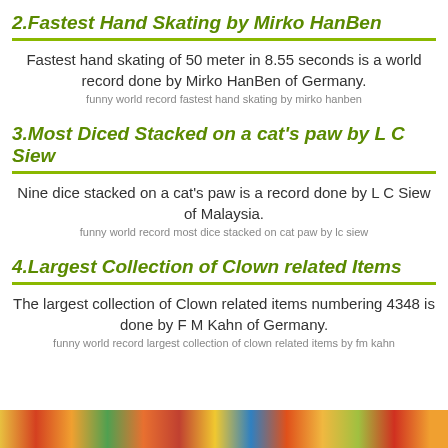2.Fastest Hand Skating by Mirko HanBen
Fastest hand skating of 50 meter in 8.55 seconds is a world record done by Mirko HanBen of Germany.
funny world record fastest hand skating by mirko hanben
3.Most Diced Stacked on a cat's paw by L C Siew
Nine dice stacked on a cat's paw is a record done by L C Siew of Malaysia.
funny world record most dice stacked on cat paw by lc siew
4.Largest Collection of Clown related Items
The largest collection of Clown related items numbering 4348 is done by F M Kahn of Germany.
funny world record largest collection of clown related items by fm kahn
[Figure (photo): Colorful strip of clown-related images at the bottom of the page]